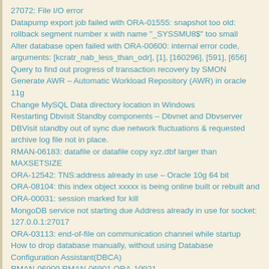27072: File I/O error
Datapump export job failed with ORA-01555: snapshot too old: rollback segment number x with name "_SYSSMU8$" too small
Alter database open failed with ORA-00600: internal error code, arguments: [kcratr_nab_less_than_odr], [1], [160296], [591], [656]
Query to find out progress of transaction recovery by SMON
Generate AWR – Automatic Workload Repository (AWR) in oracle 11g
Change MySQL Data directory location in Windows
Restarting Dbvisit Standby components – Dbvnet and Dbvserver
DBVisit standby out of sync due network fluctuations & requested archive log file not in place.
RMAN-06183: datafile or datafile copy xyz.dbf larger than MAXSETSIZE
ORA-12542: TNS:address already in use – Oracle 10g 64 bit
ORA-08104: this index object xxxxx is being online built or rebuilt and ORA-00031: session marked for kill
MongoDB service not starting due Address already in use for socket: 127.0.0.1:27017
ORA-03113: end-of-file on communication channel while startup
How to drop database manually, without using Database Configuration Assistant(DBCA)
RMAN-06900 RMAN-06901 ORA-19921
rename/relocate SYSTEM, SYSAUX or User Tablespace datafiles
ORA-00600: internal error code, arguments:[4194] ORA-00603: ORACLE